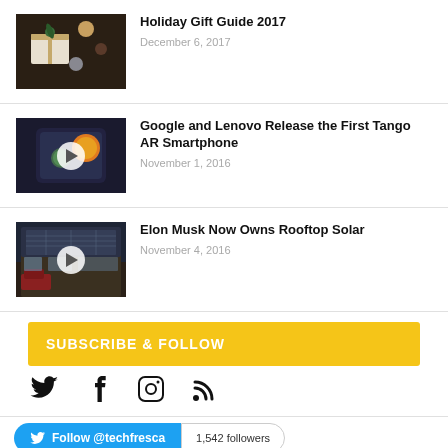[Figure (photo): Holiday gift wrapping scene — overhead view of hands holding a gift box with pinecone decoration, cups and presents on dark table]
Holiday Gift Guide 2017
December 6, 2017
[Figure (photo): Smartphone showing AR augmented reality with orange sphere and other 3D objects floating above, with play button overlay]
Google and Lenovo Release the First Tango AR Smartphone
November 1, 2016
[Figure (photo): Modern house at dusk with rooftop solar panels and a car in the driveway, with play button overlay]
Elon Musk Now Owns Rooftop Solar
November 4, 2016
SUBSCRIBE & FOLLOW
[Figure (infographic): Social media icons: Twitter bird, Facebook f, Instagram camera, RSS feed]
Follow @techfresca  1,542 followers